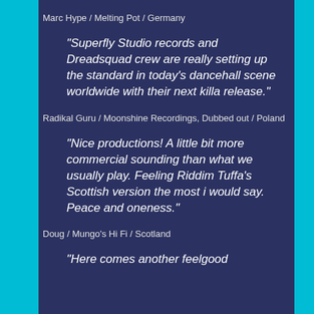Marc Hype / Melting Pot / Germany
“Superfly Studio records and Dreadsquad crew are really setting up the standard in today’s dancehall scene worldwide with their next killa release.”
Radikal Guru / Moonshine Recordings, Dubbed out / Poland
“Nice productions! A little bit more commercial sounding than what we usually play. Feeling Riddim Tuffa’s Scottish version the most i would say. Peace and oneness.”
Doug / Mungo’s Hi Fi / Scotland
“Here comes another feelgood